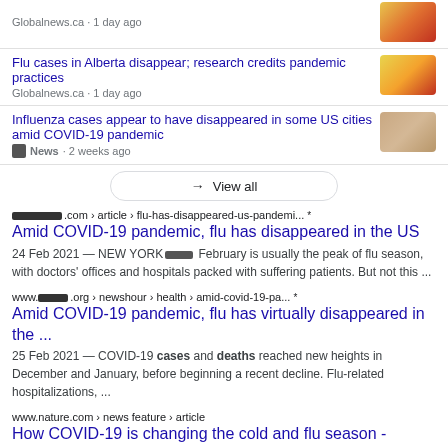Globalnews.ca · 1 day ago
Flu cases in Alberta disappear; research credits pandemic practices
Globalnews.ca · 1 day ago
Influenza cases appear to have disappeared in some US cities amid COVID-19 pandemic
News · 2 weeks ago
→ View all
[redacted].com › article › flu-has-disappeared-us-pandemi... *
Amid COVID-19 pandemic, flu has disappeared in the US
24 Feb 2021 — NEW YORK [redacted] February is usually the peak of flu season, with doctors' offices and hospitals packed with suffering patients. But not this ...
www.[redacted].org › newshour › health › amid-covid-19-pa... *
Amid COVID-19 pandemic, flu has virtually disappeared in the ...
25 Feb 2021 — COVID-19 cases and deaths reached new heights in December and January, before beginning a recent decline. Flu-related hospitalizations, ...
www.nature.com › news feature › article
How COVID-19 is changing the cold and flu season - Nature
15 Dec 2020 — There were astonishingly few cases of seasonal flu there from April ... influenza vaccination might have contributed to the disappearance, too.
[Figure (screenshot): Tweet by Scott Adams (@ScottAdamsSays) dated Mar 9, 2021 with Twitter verified badge and Follow button. Text: 'Can someone who believes masks and distancing']
Scott Adams · Mar 9, 2021
@ScottAdamsSays · Follow
Can someone who believes masks and distancing